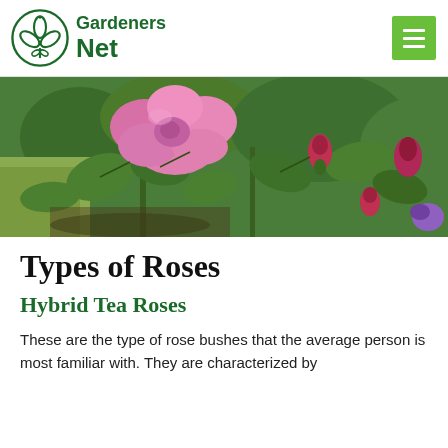Gardeners Net
[Figure (photo): Close-up photo of a rose bush with a large open pink rose bloom and several dark pink/red rose buds surrounded by green leaves, with grass visible in the background.]
Types of Roses
Hybrid Tea Roses
These are the type of rose bushes that the average person is most familiar with. They are characterized by